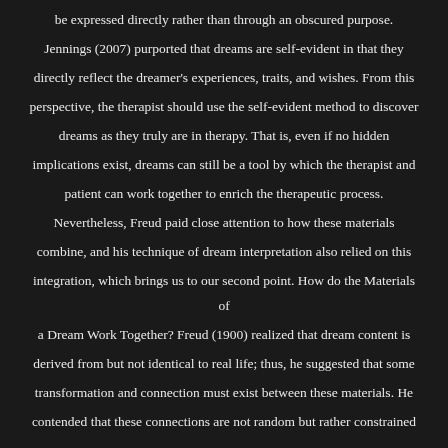be expressed directly rather than through an obscured purpose. Jennings (2007) purported that dreams are self-evident in that they directly reflect the dreamer's experiences, traits, and wishes. From this perspective, the therapist should use the self-evident method to discover dreams as they truly are in therapy. That is, even if no hidden implications exist, dreams can still be a tool by which the therapist and patient can work together to enrich the therapeutic process. Nevertheless, Freud paid close attention to how these materials combine, and his technique of dream interpretation also relied on this integration, which brings us to our second point. How do the Materials of a Dream Work Together? Freud (1900) realized that dream content is derived from but not identical to real life; thus, he suggested that some transformation and connection must exist between these materials. He contended that these connections are not random but rather constrained